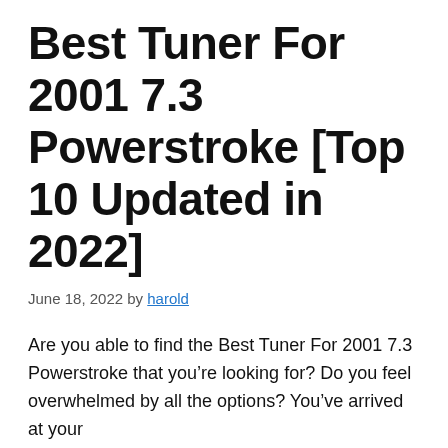Best Tuner For 2001 7.3 Powerstroke [Top 10 Updated in 2022]
June 18, 2022 by harold
Are you able to find the Best Tuner For 2001 7.3 Powerstroke that you’re looking for? Do you feel overwhelmed by all the options? You’ve arrived at your